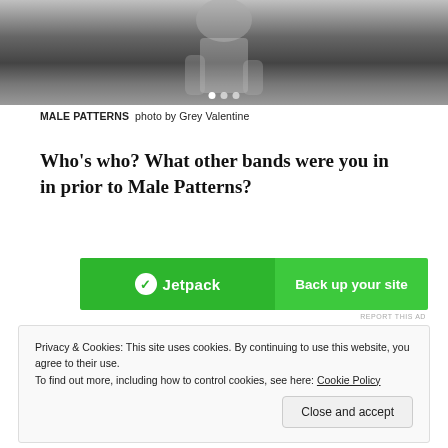[Figure (photo): Black and white concert photo of a performer on stage, partially cropped, with carousel navigation dots at the bottom]
MALE PATTERNS  photo by Grey Valentine
Who's who? What other bands were you in in prior to Male Patterns?
[Figure (screenshot): Jetpack advertisement banner with green background showing Jetpack logo on the left and 'Back up your site' call to action on the right]
REPORT THIS AD
Privacy & Cookies: This site uses cookies. By continuing to use this website, you agree to their use.
To find out more, including how to control cookies, see here: Cookie Policy
Close and accept